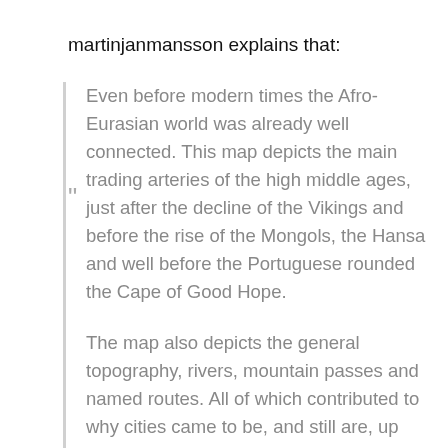martinjanmansson explains that:
Even before modern times the Afro-Eurasian world was already well connected. This map depicts the main trading arteries of the high middle ages, just after the decline of the Vikings and before the rise of the Mongols, the Hansa and well before the Portuguese rounded the Cape of Good Hope.
The map also depicts the general topography, rivers, mountain passes and named routes. All of which contributed to why cities came to be, and still are, up until